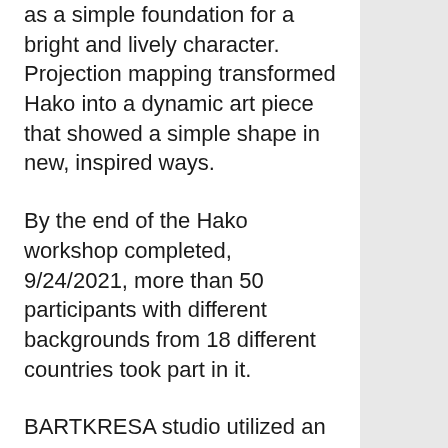as a simple foundation for a bright and lively character. Projection mapping transformed Hako into a dynamic art piece that showed a simple shape in new, inspired ways.
By the end of the Hako workshop completed, 9/24/2021, more than 50 participants with different backgrounds from 18 different countries took part in it.
BARTKRESA studio utilized an online video conference application as a platform to meet and connect with the workshop's participants. The workshop was followed by 6 series of workshops, including the history of projection, Mr. Kresa's design philosophy, template